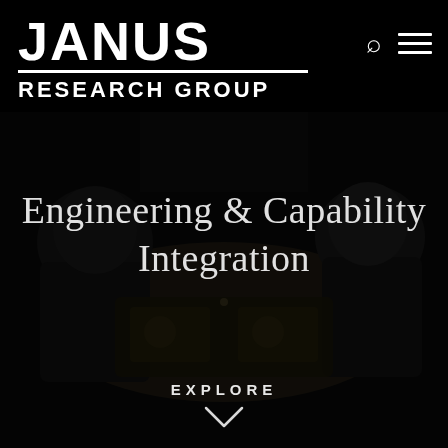JANUS RESEARCH GROUP
[Figure (photo): Dark cockpit interior with two pilots/crew wearing helmets and flight gear, seen from behind/side, with cockpit instrument panels glowing in the background. Image is heavily darkened/overlay.]
Engineering & Capability Integration
EXPLORE